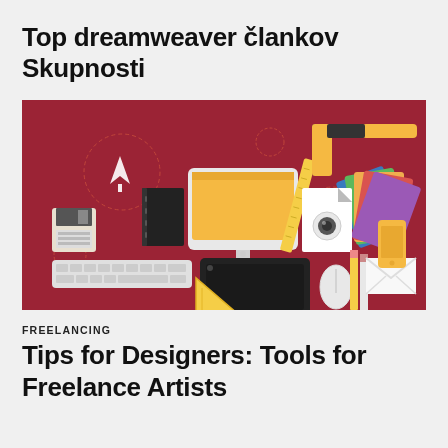Top dreamweaver člankov Skupnosti
[Figure (illustration): Flat design illustration of designer tools on dark red background: iMac monitor, keyboard, graphics tablet, mouse, floppy disk, notebook, pen tool icon, color swatches, document, triangle ruler, pencils, marker, smartphone, envelope]
FREELANCING
Tips for Designers: Tools for Freelance Artists